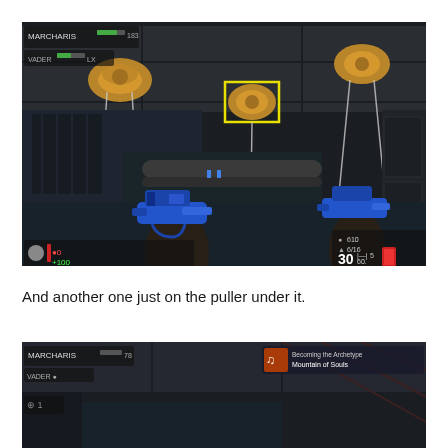[Figure (screenshot): First-person shooter game screenshot showing two hands holding blue pistols, with golden rope pulleys visible on the ceiling. A yellow bounding box highlights the middle pulley. HUD elements visible including health, ammo counters. Dark industrial environment.]
And another one just on the puller under it.
[Figure (screenshot): Second first-person shooter game screenshot showing the beginning of another scene with HUD elements including MARCHARIS and VADER labels, and a music notification showing 'Mountain of Souls' in the top right corner.]